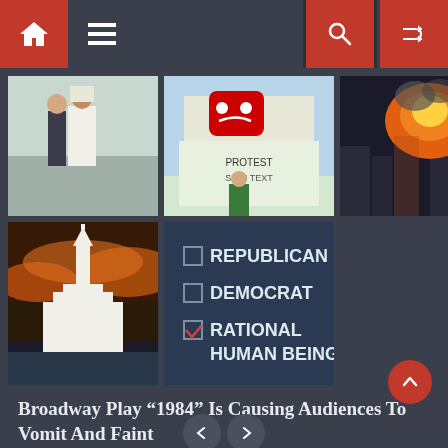Navigation bar with home, menu, search, and random icons
[Figure (photo): Grid of 5 thumbnail images: two men greeting (one in western suit, one in Arab dress), a sad YouTube-style robot character protest sign, explosion with orange fire and smoke, a temple at sunset, and a checkbox meme image with Republican, Democrat, and Rational Human Being options (last one checked)]
Broadway Play “1984” Is Causing Audiences To Vomit And Faint
June 26, 2017   The Daily Sheeple
Comment(0)